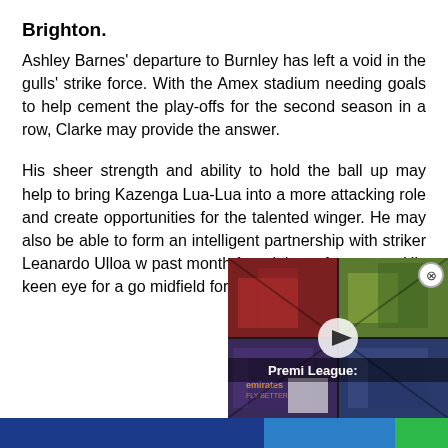Brighton.
Ashley Barnes' departure to Burnley has left a void in the gulls' strike force. With the Amex stadium needing goals to help cement the play-offs for the second season in a row, Clarke may provide the answer.
His sheer strength and ability to hold the ball up may help to bring Kazenga Lua-Lua into a more attacking role and create opportunities for the talented winger. He may also be able to form an intelligent partnership with striker Leanardo Ulloa w past month from injury after return. His keen eye for a go midfield forward as well as h
[Figure (screenshot): Video overlay showing Premier League football match footage in a 2x2 grid layout with a play button and close button. Label reads 'Premier League:']